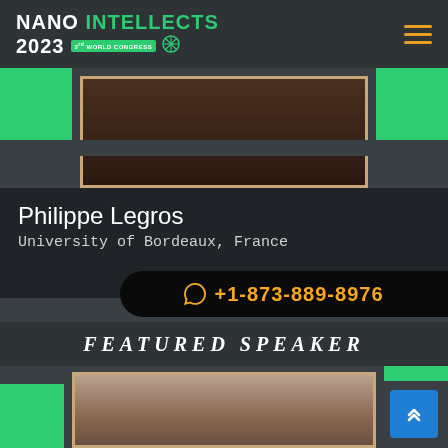[Figure (logo): NANO INTELLECTS 2023 3rd World Congress logo with green text and snowflake icon]
[Figure (photo): Top portion of speaker's photograph showing dark background]
Philippe Legros
University of Bordeaux, France
+1-873-889-8976
FEATURED SPEAKER
[Figure (photo): Portrait photo of Philippe Legros, bottom portion showing top of head]